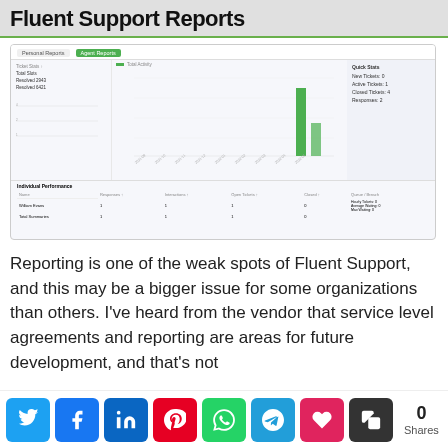Fluent Support Reports
[Figure (screenshot): Screenshot of Fluent Support Reports dashboard showing Personal Reports and Agent Reports tabs, a bar chart of ticket activity, stats panel on the right (New Tickets: 0, Active Tickets: 1, Closed Tickets: 4, Responses: 2), and an Individual Performance table below with columns Name, Responses, Interactions, Open Tickets, Closed, and Queue/Breach.]
Reporting is one of the weak spots of Fluent Support, and this may be a bigger issue for some organizations than others. I've heard from the vendor that service level agreements and reporting are areas for future development, and that's not